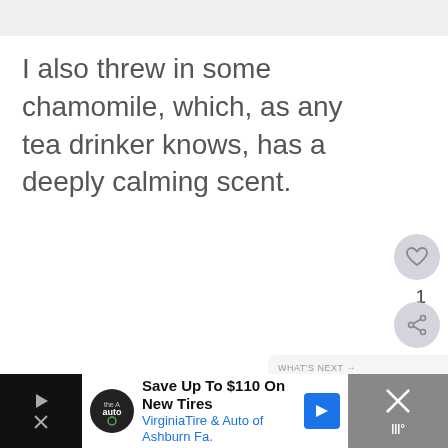I also threw in some chamomile, which, as any tea drinker knows, has a deeply calming scent.
[Figure (screenshot): Heart/like icon button (circular grey button with heart outline)]
1
[Figure (screenshot): Share icon button (circular grey button with share icon)]
WHAT'S NEXT → Mojo Monday: Financial...
[Figure (screenshot): Advertisement banner: Save Up To $110 On New Tires — Virginia Tire & Auto of Ashburn Fa.]